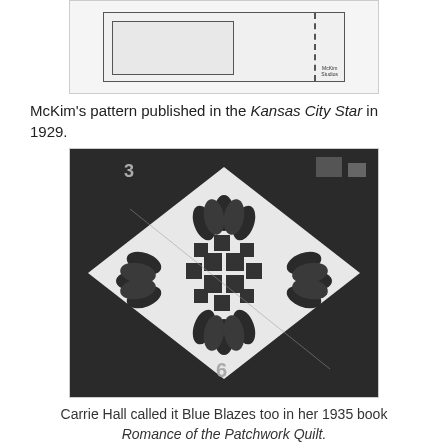[Figure (illustration): McKim Studios pattern diagram showing quilt template pieces with dashed fold line]
McKim's pattern published in the Kansas City Star in 1929.
[Figure (photo): Black and white photograph of a quilt block showing Blue Blazes pattern with flower/leaf shapes arranged around a central checkerboard diamond, with number 6 visible at bottom]
Carrie Hall called it Blue Blazes too in her 1935 book Romance of the Patchwork Quilt.